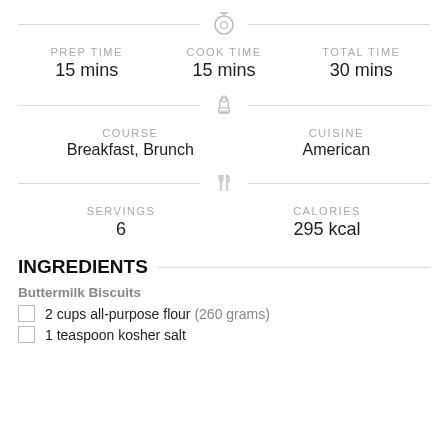[Figure (other): Timer/clock icon divider with horizontal lines]
PREP TIME 15 mins  COOK TIME 15 mins  TOTAL TIME 30 mins
[Figure (other): Chef hat icon divider with horizontal lines]
COURSE Breakfast, Brunch  CUISINE American
[Figure (other): Fork and knife icon divider with horizontal lines]
SERVINGS 6  CALORIES 295 kcal
INGREDIENTS
Buttermilk Biscuits
2 cups all-purpose flour (260 grams)
1 teaspoon kosher salt